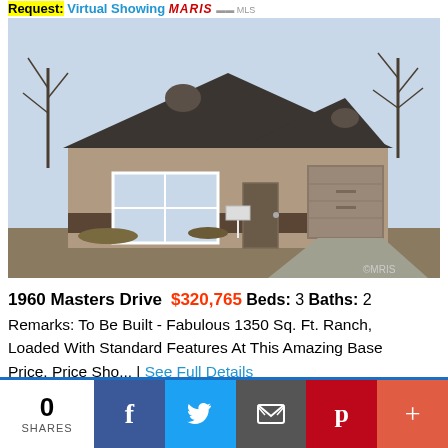Request: Virtual Showing MARIS MLS
[Figure (photo): Exterior photo of a newly built single-story ranch house with gray/tan siding, dark shingle roof, two-car garage, and a front entry door. Bare trees visible in background. Dirt yard with construction debris.]
1960 Masters Drive $320,765 Beds: 3 Baths: 2 Remarks: To Be Built - Fabulous 1350 Sq. Ft. Ranch, Loaded With Standard Features At This Amazing Base Price. Price Sho... | See Full Details
Request: Virtual Showing MARIS MLS
0 SHARES [Facebook] [Twitter] [Email] [Pinterest] [More]